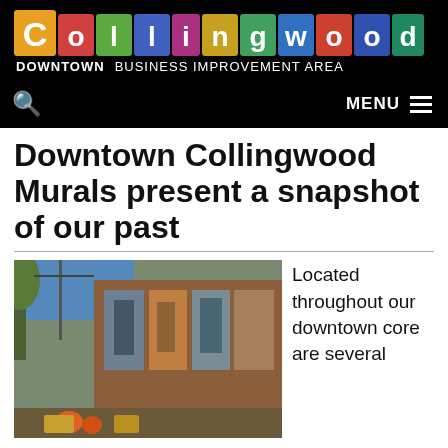[Figure (logo): Collingwood Downtown Business Improvement Area logo with colorful letter blocks on black background]
DOWNTOWN  BUSINESS IMPROVEMENT AREA
Downtown Collingwood Murals present a snapshot of our past
[Figure (photo): Street-level photo of a building with large historical murals painted on its brick exterior, decorated with autumn pumpkins and hay bales]
Located throughout our downtown core are several